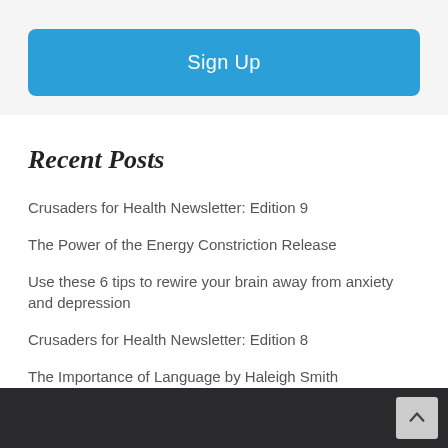[Figure (other): Blue 'Sign Up' button at top of page]
Recent Posts
Crusaders for Health Newsletter: Edition 9
The Power of the Energy Constriction Release
Use these 6 tips to rewire your brain away from anxiety and depression
Crusaders for Health Newsletter: Edition 8
The Importance of Language by Haleigh Smith